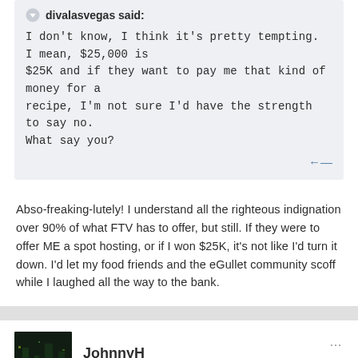divalasvegas said:
I don't know, I think it's pretty tempting.  I mean, $25,000 is $25K and if they want to pay me that kind of money for a recipe, I'm not sure I'd have the strength to say no.
What say you?
Abso-freaking-lutely! I understand all the righteous indignation over 90% of what FTV has to offer, but still. If they were to offer ME a spot hosting, or if I won $25K, it's not like I'd turn it down. I'd let my food friends and the eGullet community scoff while I laughed all the way to the bank.
JohnnyH
Posted March 24, 2008
chefpeon said: